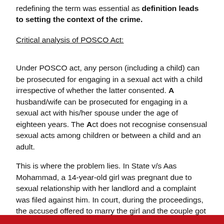redefining the term was essential as definition leads to setting the context of the crime.
Critical analysis of POSCO Act:
Under POSCO act, any person (including a child) can be prosecuted for engaging in a sexual act with a child irrespective of whether the latter consented. A husband/wife can be prosecuted for engaging in a sexual act with his/her spouse under the age of eighteen years. The Act does not recognise consensual sexual acts among children or between a child and an adult.
This is where the problem lies. In State v/s Aas Mohammad, a 14-year-old girl was pregnant due to sexual relationship with her landlord and a complaint was filed against him. In court, during the proceedings, the accused offered to marry the girl and the couple got married when he